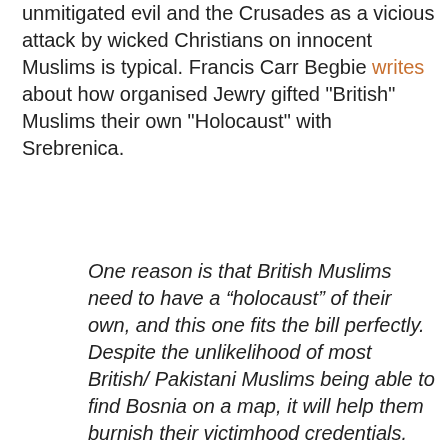unmitigated evil and the Crusades as a vicious attack by wicked Christians on innocent Muslims is typical. Francis Carr Begbie writes about how organised Jewry gifted "British" Muslims their own "Holocaust" with Srebrenica.
One reason is that British Muslims need to have a “holocaust” of their own, and this one fits the bill perfectly. Despite the unlikelihood of most British/ Pakistani Muslims being able to find Bosnia on a map, it will help them burnish their victimhood credentials.
Of course there are no shortage of massacres of Muslims in the world but they are usually carried out by other Muslims or Israelis and therefore not fit for purpose. This one was carried out by Whites and is much more useful.
To ram this message home, live BBC